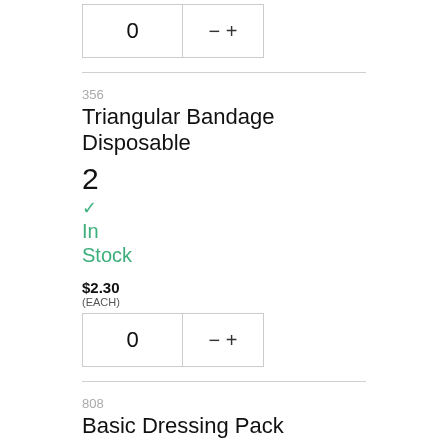0 − +
356
Triangular Bandage Disposable
2
✓ In Stock
$2.30
(EACH)
0 − +
808
Basic Dressing Pack
2
✓ In Stock